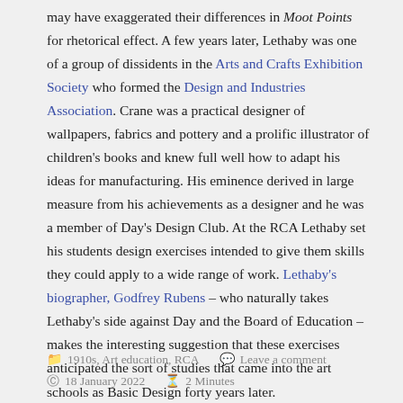may have exaggerated their differences in Moot Points for rhetorical effect. A few years later, Lethaby was one of a group of dissidents in the Arts and Crafts Exhibition Society who formed the Design and Industries Association. Crane was a practical designer of wallpapers, fabrics and pottery and a prolific illustrator of children's books and knew full well how to adapt his ideas for manufacturing. His eminence derived in large measure from his achievements as a designer and he was a member of Day's Design Club. At the RCA Lethaby set his students design exercises intended to give them skills they could apply to a wide range of work. Lethaby's biographer, Godfrey Rubens – who naturally takes Lethaby's side against Day and the Board of Education – makes the interesting suggestion that these exercises anticipated the sort of studies that came into the art schools as Basic Design forty years later.
1910s, Art education, RCA   Leave a comment   18 January 2022   2 Minutes